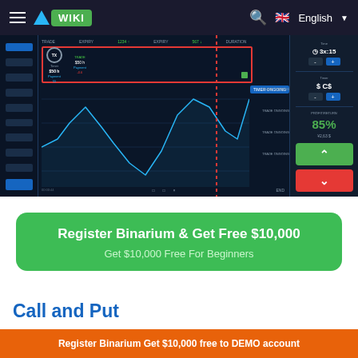Wiki — English
[Figure (screenshot): Trading platform screenshot showing a binary options chart with a line chart (price movement), a red-bordered section highlighting trade details, vertical red dotted line, and a right panel showing 85% profit payout with green UP and red DOWN buttons]
Register Binarium & Get Free $10,000
Get $10,000 Free For Beginners
Call and Put
Register Binarium Get $10,000 free to DEMO account